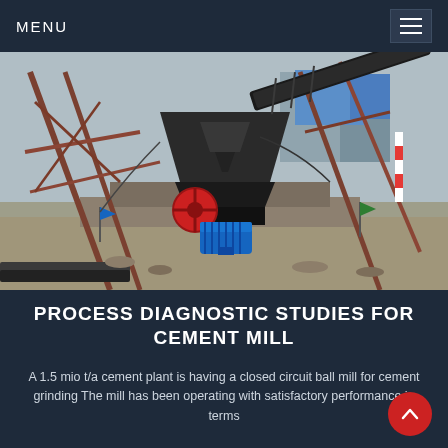MENU
[Figure (photo): Industrial cement plant scene showing a cone crusher, conveyor belt, steel framework, and electric motor on a construction site]
PROCESS DIAGNOSTIC STUDIES FOR CEMENT MILL
A 1.5 mio t/a cement plant is having a closed circuit ball mill for cement grinding The mill has been operating with satisfactory performance in terms